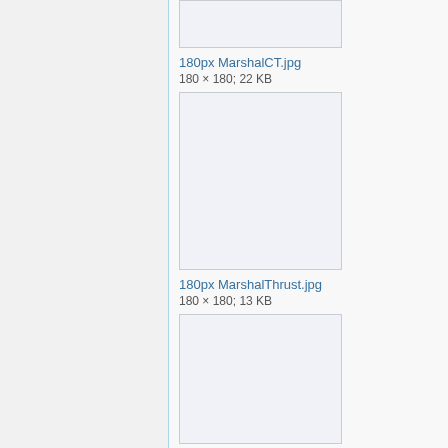[Figure (other): Truncated image placeholder box at top]
180px MarshalCT.jpg
180 × 180; 22 KB
[Figure (other): Empty image placeholder box for MarshalThrust.jpg]
180px MarshalThrust.jpg
180 × 180; 13 KB
[Figure (other): Partially visible image placeholder box at bottom]